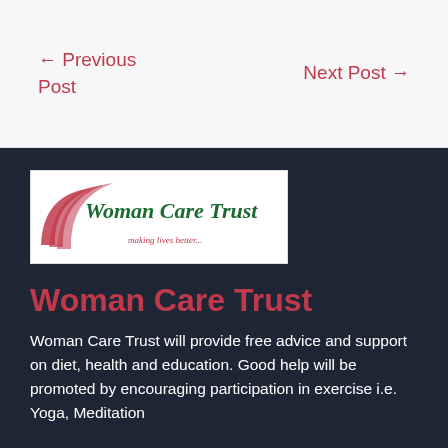← Previous Post
Next Post →
[Figure (logo): Woman Care Trust logo with red swoosh graphic and green cursive text reading 'Woman Care Trust' and tagline 'making lives better...']
Woman Care Trust
Woman Care Trust will provide free advice and support on diet, health and education. Good help will be promoted by encouraging participation in exercise i.e. Yoga, Meditation